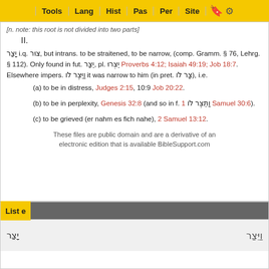Tools | Lang | Hist | Pas | Per | Site
[n. note: this root is not divided into two parts]
II.
יָצַר i.q. צוּר, but intrans. to be straitened, to be narrow, (comp. Gramm. § 76, Lehrg. § 112). Only found in fut. יֵצַר, pl. יֵצְרוּ Proverbs 4:12; Isaiah 49:19; Job 18:7. Elsewhere impers. וַיֵּצֶר לוֹ it was narrow to him (in pret. צַר לוֹ), i.e.
(a) to be in distress, Judges 2:15, 10:9 Job 20:22.
(b) to be in perplexity, Genesis 32:8 (and so in f. וַתֵּצֶר לוֹ 1 Samuel 30:6).
(c) to be grieved (er nahm es fich nahe), 2 Samuel 13:12.
These files are public domain and are a derivative of an electronic edition that is available BibleSupport.com
List e
יָצַר / יֵצַר